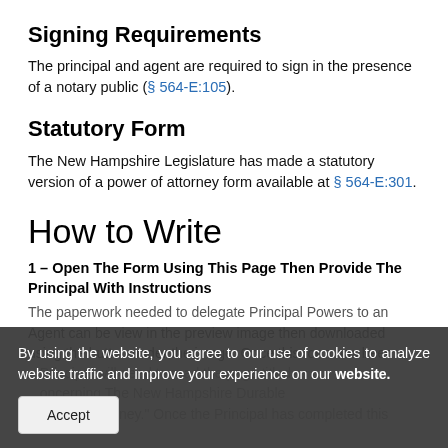Signing Requirements
The principal and agent are required to sign in the presence of a notary public (§ 564-E:105).
Statutory Form
The New Hampshire Legislature has made a statutory version of a power of attorney form available at § 564-E:301.
How to Write
1 – Open The Form Using This Page Then Provide The Principal With Instructions
The paperwork needed to delegate Principal Powers to an Agent can be view in the preview image then downloaded using the button under the image. Once this form has been ...Principal will need to read the page titled ...oncerning The New Hampshire Durable Power Of Attorney." Once the Principal has completed this
By using the website, you agree to our use of cookies to analyze website traffic and improve your experience on our website.